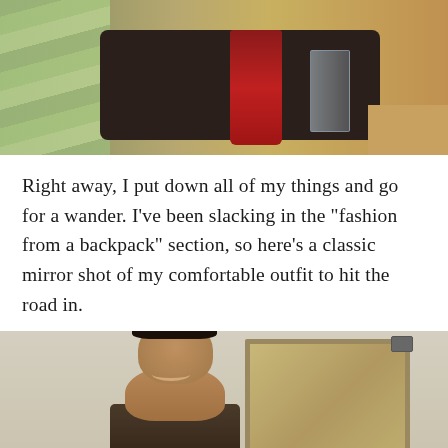[Figure (photo): Photo of a dark food tray holding a tall red drink glass and a clear glass, sitting on a wooden table surface, with green patterned cushions visible on the left side.]
Right away, I put down all of my things and go for a wander. I’ve been slacking in the “fashion from a backpack” section, so here’s a classic mirror shot of my comfortable outfit to hit the road in.
[Figure (photo): A woman taking a mirror selfie in a room, smiling, with a framed mirror behind her showing part of the reflection. She has dark hair pulled back and appears to be in casual clothing.]